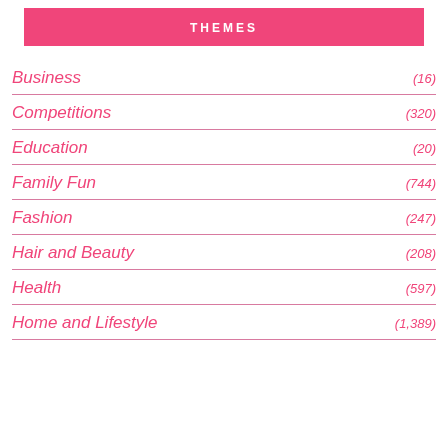THEMES
Business (16)
Competitions (320)
Education (20)
Family Fun (744)
Fashion (247)
Hair and Beauty (208)
Health (597)
Home and Lifestyle (1,389)